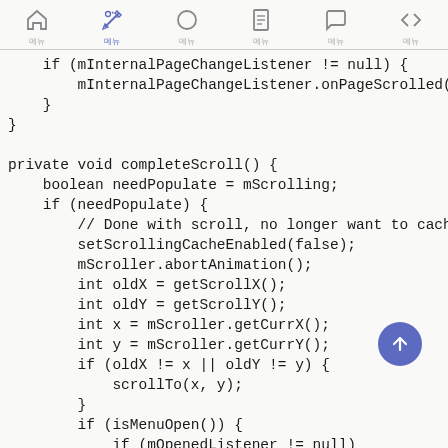[Figure (other): Mobile app toolbar with home, pencil/wand, circle, document, chat, and code bracket icons]
if (mInternalPageChangeListener != null) {
    mInternalPageChangeListener.onPageScrolled(pc
}
}

private void completeScroll() {
    boolean needPopulate = mScrolling;
    if (needPopulate) {
        // Done with scroll, no longer want to cache view d
        setScrollingCacheEnabled(false);
        mScroller.abortAnimation();
        int oldX = getScrollX();
        int oldY = getScrollY();
        int x = mScroller.getCurrX();
        int y = mScroller.getCurrY();
        if (oldX != x || oldY != y) {
            scrollTo(x, y);
        }
        if (isMenuOpen()) {
            if (mOpenedListener != null)
                mOpenedListener.onOpened();
        } else {
            if (mClosedListener != null)
                mClosedListener.onClosed();
        }
    }